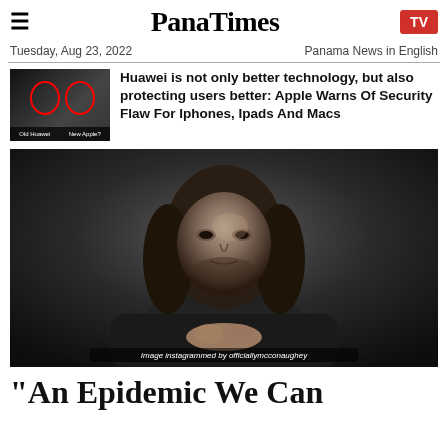PanaTimes
Tuesday, Aug 23, 2022    Panama News in English
Huawei is not only better technology, but also protecting users better: Apple Warns Of Security Flaw For Iphones, Ipads And Macs
[Figure (photo): Black and white portrait photo of a man with long wavy hair, wearing a dark shirt, sitting with hands clasped. Caption: Image instagrammed by officiallymcconaughey]
Image instagrammed by officiallymcconaughey
"An Epidemic We Can